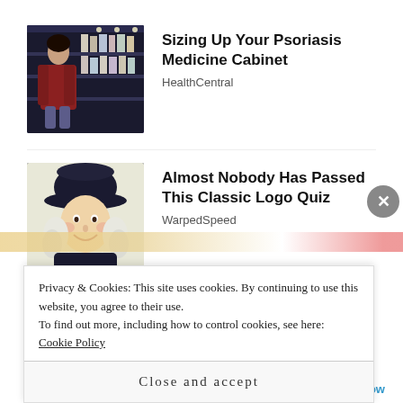[Figure (photo): Woman shopping in a pharmacy or health store aisle, looking at products on a shelf]
Sizing Up Your Psoriasis Medicine Cabinet
HealthCentral
[Figure (photo): Quaker Oats man mascot illustration - colonial man with wide-brimmed hat and white wig]
Almost Nobody Has Passed This Classic Logo Quiz
WarpedSpeed
Privacy & Cookies: This site uses cookies. By continuing to use this website, you agree to their use.
To find out more, including how to control cookies, see here: Cookie Policy
Close and accept